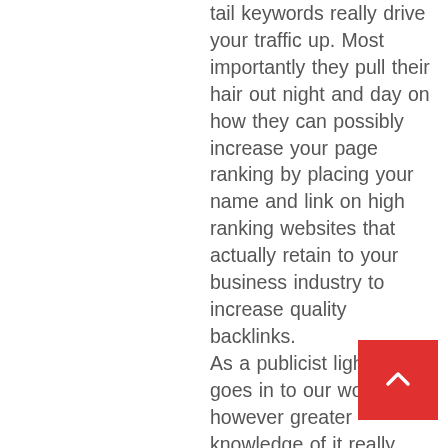tail keywords really drive your traffic up. Most importantly they pull their hair out night and day on how they can possibly increase your page ranking by placing your name and link on high ranking websites that actually retain to your business industry to increase quality backlinks. As a publicist light SEO goes in to our work however greater knowledge of it really benefits all PR agencies in the long run. Of course we have to have the right keywords and buzzwords within our press releases and pitch letters if we are to garner our clients the best results. We only place our clients articles, names and quotes within applicable industry news. However thats